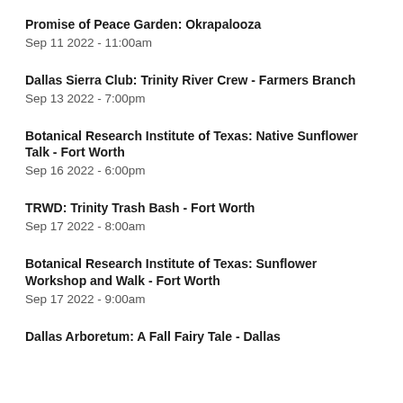Promise of Peace Garden: Okrapalooza
Sep 11 2022 - 11:00am
Dallas Sierra Club: Trinity River Crew - Farmers Branch
Sep 13 2022 - 7:00pm
Botanical Research Institute of Texas: Native Sunflower Talk - Fort Worth
Sep 16 2022 - 6:00pm
TRWD: Trinity Trash Bash - Fort Worth
Sep 17 2022 - 8:00am
Botanical Research Institute of Texas: Sunflower Workshop and Walk - Fort Worth
Sep 17 2022 - 9:00am
Dallas Arboretum: A Fall Fairy Tale - Dallas